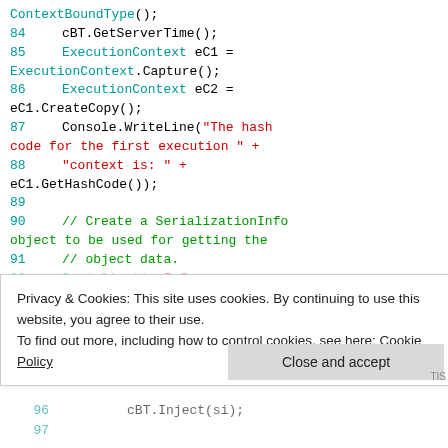ContextBoundType();
84    cBT.GetServerTime();
85    ExecutionContext eC1 = ExecutionContext.Capture();
86    ExecutionContext eC2 = eC1.CreateCopy();
87    Console.WriteLine("The hash code for the first execution " +
88    "context is: " + eC1.GetHashCode());
89
90    // Create a SerializationInfo object to be used for getting the
91    // object data.
Privacy & Cookies: This site uses cookies. By continuing to use this website, you agree to their use. To find out more, including how to control cookies, see here: Cookie Policy
Close and accept